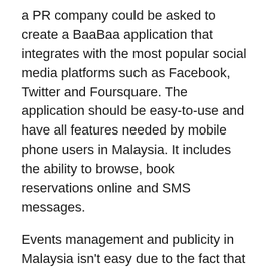a PR company could be asked to create a BaaBaa application that integrates with the most popular social media platforms such as Facebook, Twitter and Foursquare. The application should be easy-to-use and have all features needed by mobile phone users in Malaysia. It includes the ability to browse, book reservations online and SMS messages.
Events management and publicity in Malaysia isn't easy due to the fact that many media organizations have limited exposure in the country. This can pose problems, especially when the event is the benefit of a partnership with the international brand. It is essential for the PR agency to have solid relationships with multinational companies and make sure that the brand's image has a good image in Malaysia. A SEO specialist from the PR company should also collaborate with the company that manages events in order to make sure that the content they post is displayed on their Facebook pages and the ability to reply to inquiries from customers in a timely